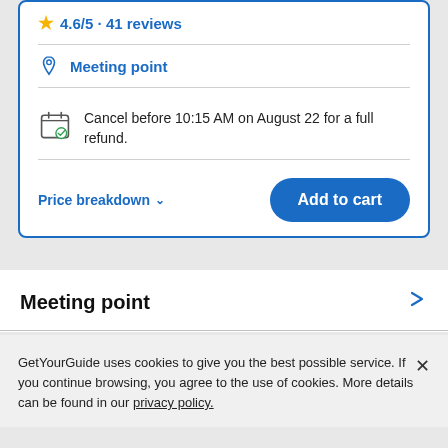4.6/5 · 41 reviews
Meeting point
Cancel before 10:15 AM on August 22 for a full refund.
Price breakdown ∨
Add to cart
Meeting point
GetYourGuide uses cookies to give you the best possible service. If you continue browsing, you agree to the use of cookies. More details can be found in our privacy policy.